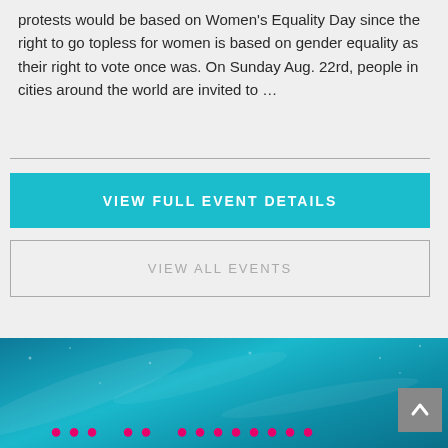protests would be based on Women's Equality Day since the right to go topless for women is based on gender equality as their right to vote once was. On Sunday Aug. 22rd, people in cities around the world are invited to …
VIEW FULL EVENT DETAILS
VIEW ALL EVENTS
[Figure (screenshot): Bottom section showing a teal/dark blue background with decorative light streaks and pink/red pixel-style text partially visible at the bottom. A grey back-to-top arrow button is visible in the bottom-right corner.]